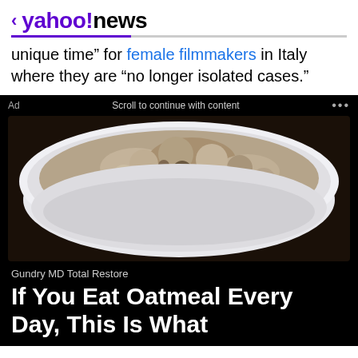< yahoo!news
unique time” for female filmmakers in Italy where they are “no longer isolated cases.”
[Figure (screenshot): Advertisement banner showing a bowl of oatmeal on a black background with 'Ad' label, 'Scroll to continue with content' text, and three dots menu]
Gundry MD Total Restore
If You Eat Oatmeal Every Day, This Is What